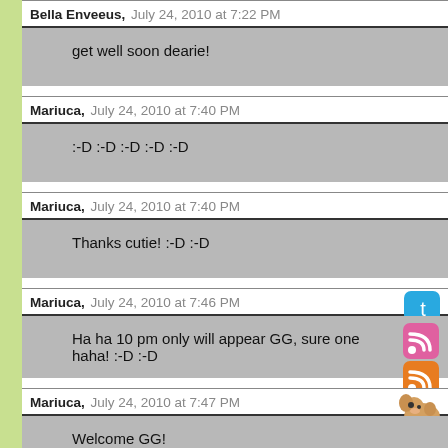Bella Enveeus,  July 24, 2010 at 7:22 PM
get well soon dearie!
Mariuca,  July 24, 2010 at 7:40 PM
:-D :-D :-D :-D :-D
Mariuca,  July 24, 2010 at 7:40 PM
Thanks cutie! :-D :-D
Mariuca,  July 24, 2010 at 7:46 PM
Ha ha 10 pm only will appear GG, sure one haha! :-D :-D
Mariuca,  July 24, 2010 at 7:47 PM
Welcome GG!